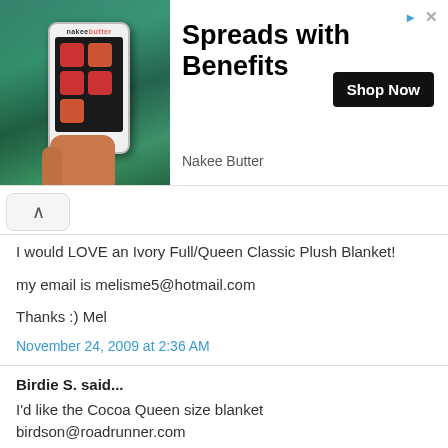[Figure (photo): Advertisement banner for Nakee Butter showing a phone with colorful app icons held against a waterfall/nature background, with title 'Spreads with Benefits', 'Shop Now' button, and 'Nakee Butter' brand name]
I would LOVE an Ivory Full/Queen Classic Plush Blanket!

my email is melisme5@hotmail.com

Thanks :) Mel
November 24, 2009 at 2:36 AM
Birdie S. said...
I'd like the Cocoa Queen size blanket birdson@roadrunner.com
November 24, 2009 at 9:19 AM